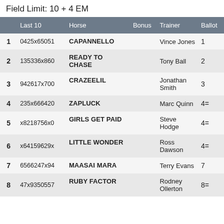Field Limit: 10 + 4 EM
|  | Last 10 | Horse | Bonus | Trainer | Ballot |
| --- | --- | --- | --- | --- | --- |
| 1 | 0425x65051 | CAPANNELLO |  | Vince Jones | 1 |
| 2 | 135336x860 | READY TO CHASE |  | Tony Ball | 2 |
| 3 | 942617x700 | CRAZEELIL |  | Jonathan Smith | 3 |
| 4 | 235x666420 | ZAPLUCK |  | Marc Quinn | 4= |
| 5 | x8218756x0 | GIRLS GET PAID |  | Steve Hodge | 4= |
| 6 | x64159629x | LITTLE WONDER |  | Ross Dawson | 4= |
| 7 | 6566247x94 | MAASAI MARA |  | Terry Evans | 7 |
| 8 | 47x9350557 | RUBY FACTOR |  | Rodney Ollerton | 8= |